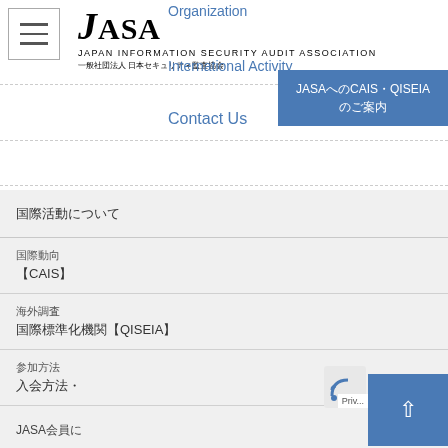Organization
[Figure (logo): JASA Japan Information Security Audit Association logo with Japanese text]
International Activity
Contact Us
JASAへのCAIS・QISEIAのご案内
国際活動について
国際動向
【CAIS】
海外調査
国際標準化機関QISEIA【】
参加方法
入会方法・
JASA会員に